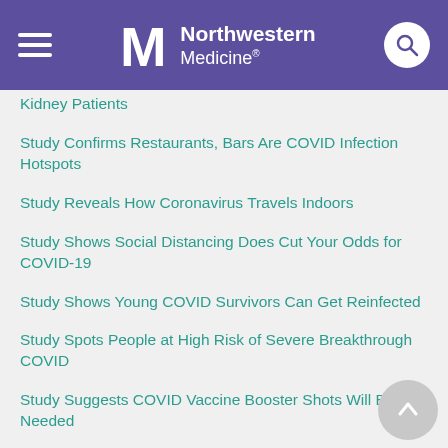Northwestern Medicine
Kidney Patients
Study Confirms Restaurants, Bars Are COVID Infection Hotspots
Study Reveals How Coronavirus Travels Indoors
Study Shows Social Distancing Does Cut Your Odds for COVID-19
Study Shows Young COVID Survivors Can Get Reinfected
Study Spots People at High Risk of Severe Breakthrough COVID
Study Suggests COVID Vaccine Booster Shots Will Be Needed
Study Tracks Course of COVID Infection,